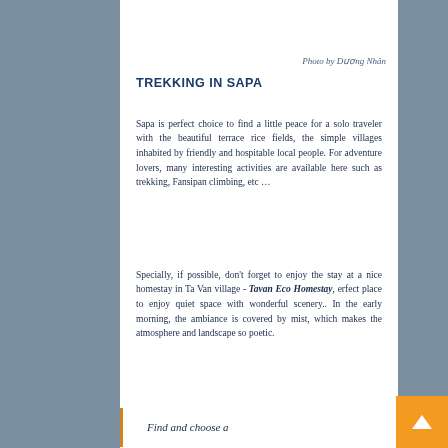[Figure (photo): Top portion of a photo showing a building with red walls and green lawn, partially cropped at the top of the white content panel.]
Photo by Dương Nhân
TREKKING IN SAPA
Sapa is perfect choice to find a little peace for a solo traveler with the beautiful terrace rice fields, the simple villages inhabited by friendly and hospitable local people. For adventure lovers, many interesting activities are available here such as trekking, Fansipan climbing, etc …
Specially, if possible, don't forget to enjoy the stay at a nice homestay in Ta Van village - Tavan Eco Homestay, erfect place to enjoy quiet space with wonderful scenery.. In the early morning, the ambiance is covered by mist, which makes the atmosphere and landscape so poetic.
Find and choose a